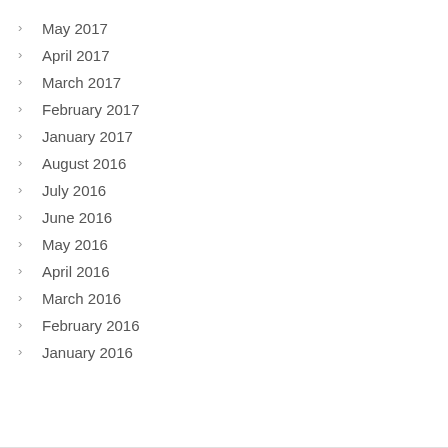May 2017
April 2017
March 2017
February 2017
January 2017
August 2016
July 2016
June 2016
May 2016
April 2016
March 2016
February 2016
January 2016